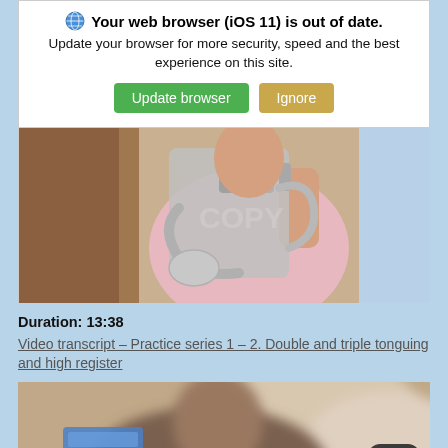[Figure (screenshot): Browser out-of-date warning banner with Update browser (green) and Ignore (tan) buttons, with small globe/settings icon]
[Figure (photo): Photo of a person in a pink shirt holding a silver euphonium or French horn instrument up to their face, partially obscured]
Duration: 13:38
Video transcript – Practice series 1 – 2. Double and triple tonguing and high register
[Figure (photo): Blurred photo of a person (music teacher or student), with a blue rectangle partially visible on the left and a scroll-to-top button in the bottom right corner]